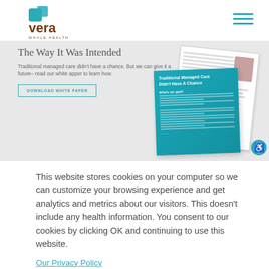[Figure (logo): Vera Whole Health logo with teal leaf/square icon and brown 'vera' text, subtitle 'WHOLE HEALTH']
[Figure (screenshot): Website hero banner with gray background showing headline 'The Way It Was Intended', subtext about traditional managed care white paper, a 'DOWNLOAD WHITE PAPER' button, and two overlapping document mockups on right side including a teal card reading 'Traditional Managed Care Didn't Have A Chance']
This website stores cookies on your computer so we can customize your browsing experience and get analytics and metrics about our visitors. This doesn't include any health information. You consent to our cookies by clicking OK and continuing to use this website.
Our Privacy Policy
Ok